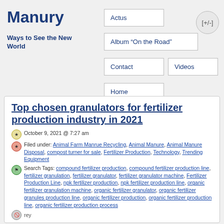Manury
Ways to See the New World
Actus
Album “On the Road”
Contact
Videos
Home
[+/-]
Top chosen granulators for fertilizer production industry in 2021
October 9, 2021 @ 7:27 am
Filed under: Animal Farm Manrue Recycling, Animal Manure, Animal Manure Disposal, compost turner for sale, Fertilizer Production, Technology, Trending Equipment
Search Tags: compound fertilizer production, compound fertilizer production line, fertilizer granulation, fertilizer granulator, fertilizer granulator machine, Fertilizer Production Line, npk fertilizer production, npk fertilizer production line, organic fertilizer granulation machine, organic fertilizer granulator, organic fertilizer granules production line, organic fertilizer production, organic fertilizer production line, organic fertilizer production process
rey